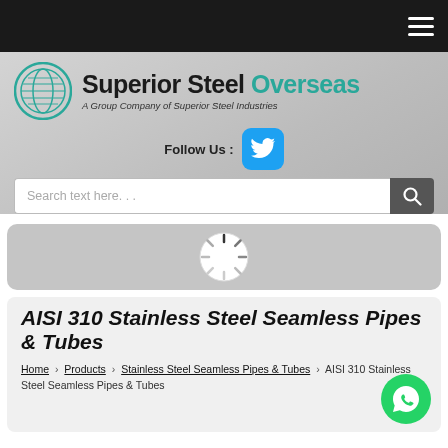Superior Steel Overseas — A Group Company of Superior Steel Industries
Follow Us :
Search text here...
[Figure (illustration): Loading spinner icon inside a rounded rectangle banner]
AISI 310 Stainless Steel Seamless Pipes & Tubes
Home › Products › Stainless Steel Seamless Pipes & Tubes › AISI 310 Stainless Steel Seamless Pipes & Tubes